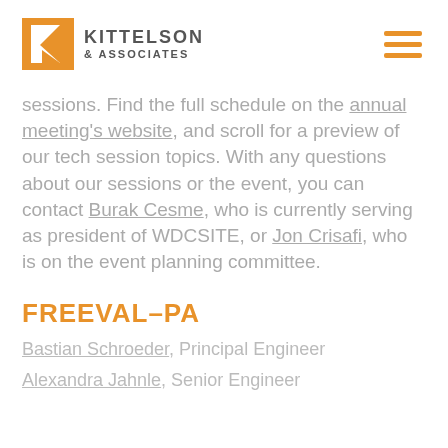KITTELSON & ASSOCIATES
sessions. Find the full schedule on the annual meeting's website, and scroll for a preview of our tech session topics. With any questions about our sessions or the event, you can contact Burak Cesme, who is currently serving as president of WDCSITE, or Jon Crisafi, who is on the event planning committee.
FREEVAL–PA
Bastian Schroeder, Principal Engineer
Alexandra Jahnle, Senior Engineer